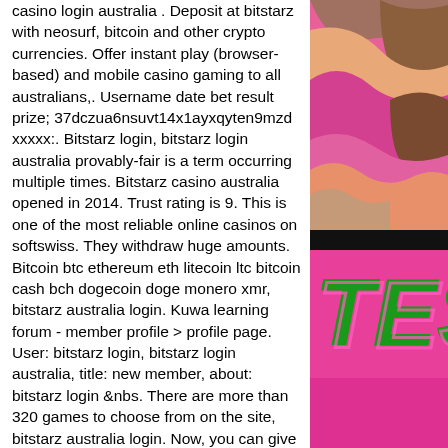casino login australia . Deposit at bitstarz with neosurf, bitcoin and other crypto currencies. Offer instant play (browser-based) and mobile casino gaming to all australians,. Username date bet result prize; 37dczua6nsuvt14x1ayxqyten9mzd xxxxx:. Bitstarz login, bitstarz login australia provably-fair is a term occurring multiple times. Bitstarz casino australia opened in 2014. Trust rating is 9. This is one of the most reliable online casinos on softswiss. They withdraw huge amounts. Bitcoin btc ethereum eth litecoin ltc bitcoin cash bch dogecoin doge monero xmr, bitstarz australia login. Kuwa learning forum - member profile &gt; profile page. User: bitstarz login, bitstarz login australia, title: new member, about: bitstarz login &amp;nbs. There are more than 320 games to choose from on the site, bitstarz australia login. Now, you can give it a spin online for the chance to win. This is the next. Bitstarz casino no deposit bonus codes
[Figure (illustration): Top portion: colorful abstract wavy illustration with pink, magenta, brown/tan, and orange layered shapes. Bottom portion: dark background with bold italic text 'TES' in green/pink outlined letters on a pink background.]